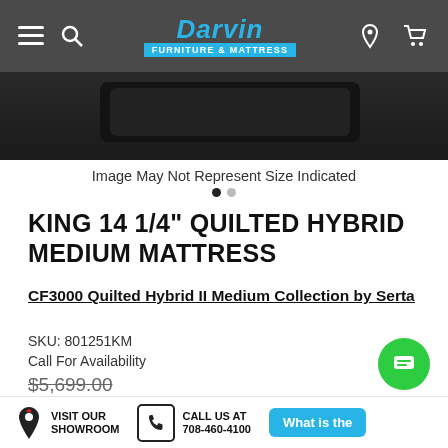Darvin Furniture & Mattress
[Figure (photo): Partial view of a dark mattress on a white background]
Image May Not Represent Size Indicated
KING 14 1/4" QUILTED HYBRID MEDIUM MATTRESS
CF3000 Quilted Hybrid II Medium Collection by Serta
SKU: 801251KM
Call For Availability
$5,699.00
Sale Price: $2,999.00
VISIT OUR SHOWROOM   CALL US AT 708-460-4100   What is the